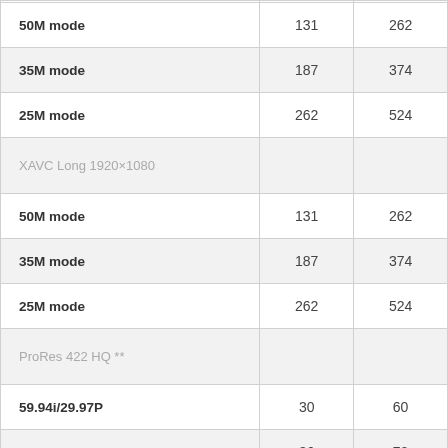|  |  |  |
| --- | --- | --- |
| 50M mode | 131 | 262 |
| 35M mode | 187 | 374 |
| 25M mode | 262 | 524 |
| XAVC Long 1920×1080 |  |  |
| 50M mode | 131 | 262 |
| 35M mode | 187 | 374 |
| 25M mode | 262 | 524 |
| ProRes 422 HQ ** |  |  |
| 59.94i/29.97P | 30 | 60 |
| 50i/25P | 36 | 72 |